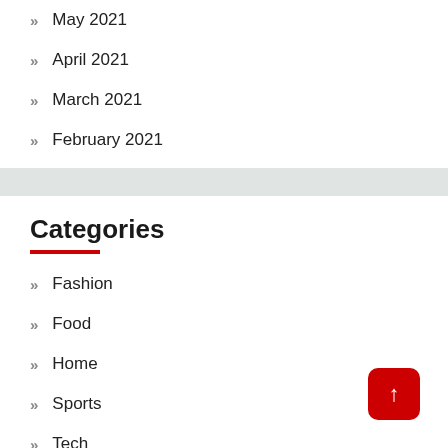May 2021
April 2021
March 2021
February 2021
Categories
Fashion
Food
Home
Sports
Tech